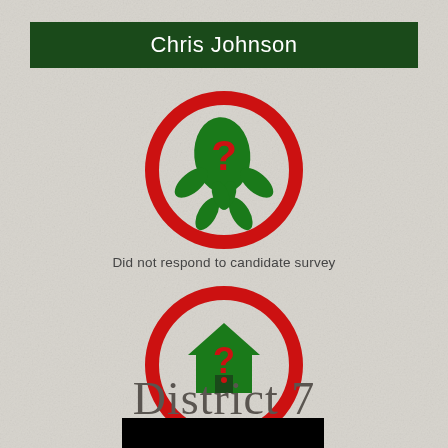Chris Johnson
[Figure (illustration): Cannabis leaf icon inside a red circle with a red question mark overlay, indicating no response to candidate survey]
Did not respond to candidate survey
[Figure (illustration): House icon inside a red circle with a red question mark overlay, indicating no response to candidate survey]
Did not respond to candidate survey
District 7
[Figure (photo): Black rectangle representing a photo or image of the candidate or district]